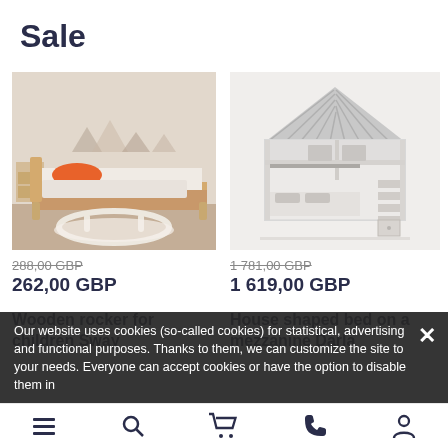Sale
[Figure (photo): Children's wooden bed with a curved rocker base in a light-colored room with mountain-print wallpaper and orange pillow]
288,00 GBP (strikethrough)
262,00 GBP
Wooden rocker for children Sway
[Figure (photo): White house-shaped children's mezzanine bed with roof, stairs, and loft structure]
1 781,00 GBP (strikethrough)
1 619,00 GBP
House shaped bed on a mezzanine Darla
Our website uses cookies (so-called cookies) for statistical, advertising and functional purposes. Thanks to them, we can customize the site to your needs. Everyone can accept cookies or have the option to disable them in
Menu | Search | Cart | Phone | Account